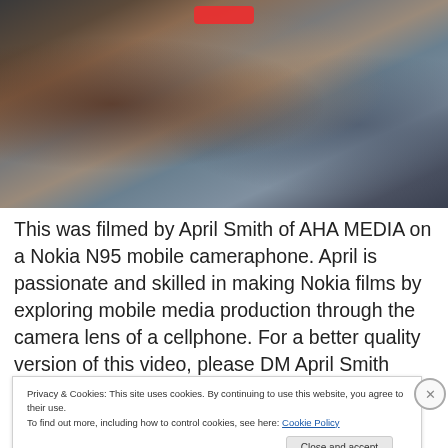[Figure (photo): A group of people standing outdoors against a brick wall. A person with long blonde hair is visible in the center, with others around them including someone in a red jacket and someone in a blue jacket with a white cap.]
This was filmed by April Smith of AHA MEDIA on a Nokia N95 mobile cameraphone. April is passionate and skilled in making Nokia films by exploring mobile media production through the camera lens of a cellphone. For a better quality version of this video, please DM April Smith
Privacy & Cookies: This site uses cookies. By continuing to use this website, you agree to their use.
To find out more, including how to control cookies, see here: Cookie Policy
Close and accept